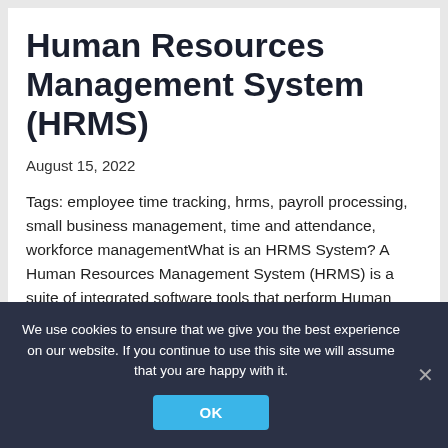Human Resources Management System (HRMS)
August 15, 2022
Tags: employee time tracking, hrms, payroll processing, small business management, time and attendance, workforce managementWhat is an HRMS System? A Human Resources Management System (HRMS) is a suite of integrated software tools that perform Human Resources tasks. Each tool allows you to manage
We use cookies to ensure that we give you the best experience on our website. If you continue to use this site we will assume that you are happy with it.